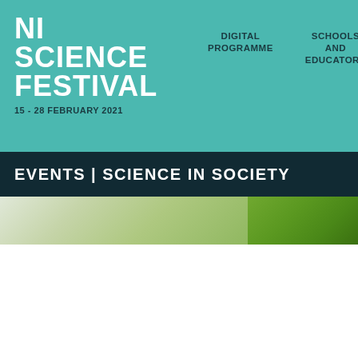NI SCIENCE FESTIVAL
15 - 28 FEBRUARY 2021
DIGITAL PROGRAMME
SCHOOLS AND EDUCATORS
EVENTS | SCIENCE IN SOCIETY
[Figure (photo): Green plant leaves background image strip]